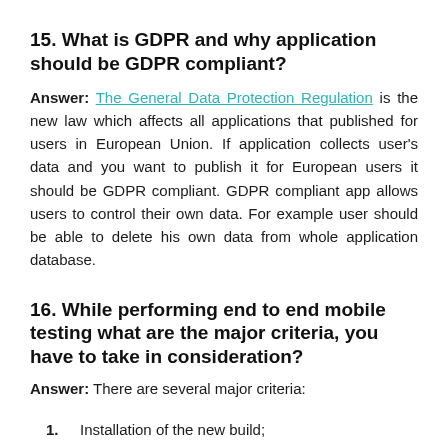15. What is GDPR and why application should be GDPR compliant?
Answer: The General Data Protection Regulation is the new law which affects all applications that published for users in European Union. If application collects user's data and you want to publish it for European users it should be GDPR compliant. GDPR compliant app allows users to control their own data. For example user should be able to delete his own data from whole application database.
16. While performing end to end mobile testing what are the major criteria, you have to take in consideration?
Answer: There are several major criteria:
Installation of the new build;